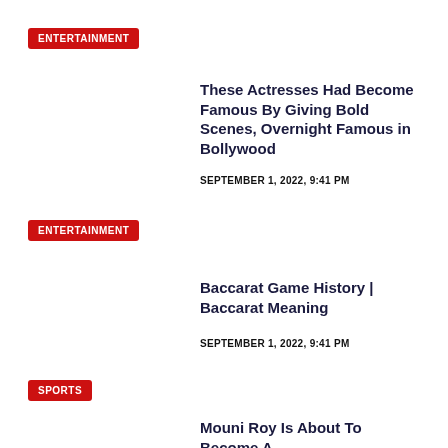ENTERTAINMENT
These Actresses Had Become Famous By Giving Bold Scenes, Overnight Famous in Bollywood
SEPTEMBER 1, 2022, 9:41 PM
ENTERTAINMENT
Baccarat Game History | Baccarat Meaning
SEPTEMBER 1, 2022, 9:41 PM
SPORTS
Mouni Roy Is About To Become A